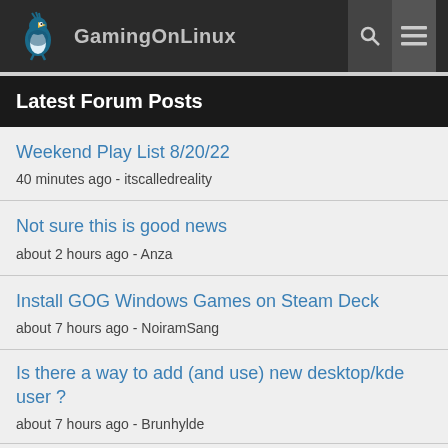GamingOnLinux
Latest Forum Posts
Weekend Play List 8/20/22
40 minutes ago - itscalledreality
Not sure this is good news
about 2 hours ago - Anza
Install GOG Windows Games on Steam Deck
about 7 hours ago - NoiramSang
Is there a way to add (and use) new desktop/kde user ?
about 7 hours ago - Brunhylde
Script to Report Steam Compatibility Versions